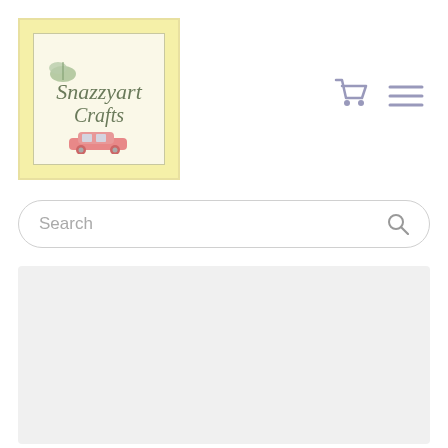[Figure (logo): Snazzyart Crafts logo: yellow square background with inner cream square border, cursive green text reading 'Snazzyart Crafts', green leaf/plant illustration, pink vintage car at bottom]
[Figure (illustration): Shopping cart icon and hamburger menu icon in muted purple/grey color]
Search
[Figure (photo): Product image area - light grey rectangle placeholder]
$18.99